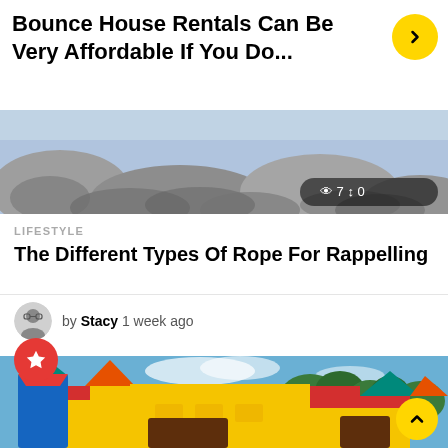Bounce House Rentals Can Be Very Affordable If You Do...
[Figure (photo): Outdoor rocky/stone landscape, partially visible at top of page]
👁 7  ↕ 0
LIFESTYLE
The Different Types Of Rope For Rappelling
by Stacy 1 week ago
[Figure (photo): Colorful inflatable bounce house castle with cone-shaped turrets (teal, orange, red), set outdoors against a blue sky with trees]